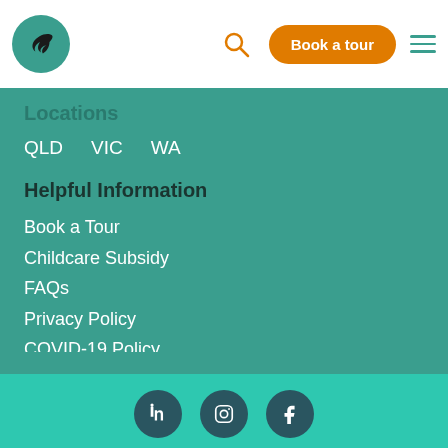Book a tour
Locations
QLD
VIC
WA
Helpful Information
Book a Tour
Childcare Subsidy
FAQs
Privacy Policy
COVID-19 Policy
Supplier Code of Conduct
[Figure (illustration): Social media icons: LinkedIn, Instagram, Facebook in dark teal circles on bright teal background]